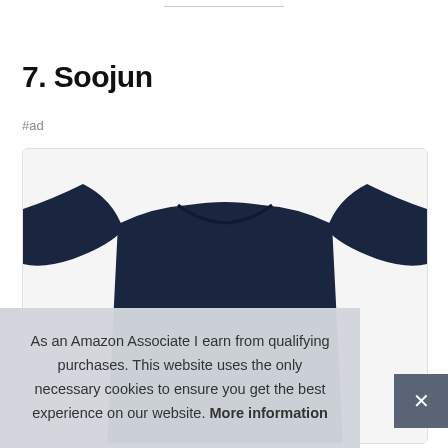7. Soojun
#ad
[Figure (photo): Product photo of a dark navy blue knit sweater/top shown from above on a white background inside a card with rounded border.]
As an Amazon Associate I earn from qualifying purchases. This website uses the only necessary cookies to ensure you get the best experience on our website. More information